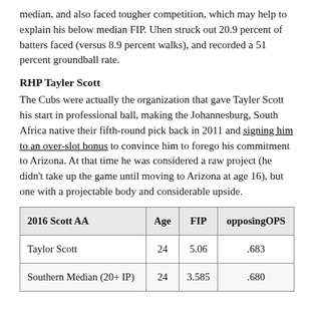median, and also faced tougher competition, which may help to explain his below median FIP. Uhen struck out 20.9 percent of batters faced (versus 8.9 percent walks), and recorded a 51 percent groundball rate.
RHP Tayler Scott
The Cubs were actually the organization that gave Tayler Scott his start in professional ball, making the Johannesburg, South Africa native their fifth-round pick back in 2011 and signing him to an over-slot bonus to convince him to forego his commitment to Arizona. At that time he was considered a raw project (he didn't take up the game until moving to Arizona at age 16), but one with a projectable body and considerable upside.
| 2016 Scott AA | Age | FIP | opposingOPS |
| --- | --- | --- | --- |
| Taylor Scott | 24 | 5.06 | .683 |
| Southern Median (20+ IP) | 24 | 3.585 | .680 |